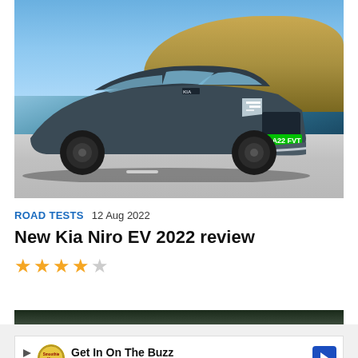[Figure (photo): A dark grey Kia Niro EV SUV driving on a road with hills and blue sky in the background. UK license plate LA22 FVT visible.]
ROAD TESTS  12 Aug 2022
New Kia Niro EV 2022 review
★★★★☆ (4 out of 5 stars)
[Figure (photo): Partial strip of a second image showing green foliage]
Advertisement
[Figure (other): Advertisement banner: Get In On The Buzz - Smoothie King]